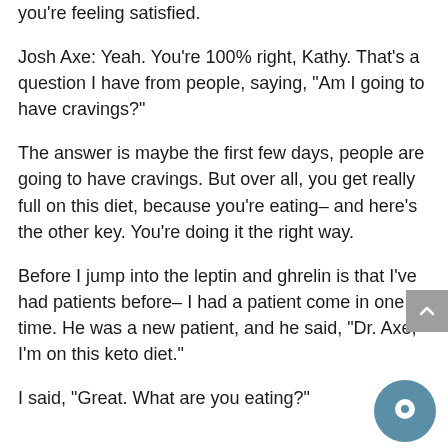you're feeling satisfied.
Josh Axe: Yeah. You're 100% right, Kathy. That's a question I have from people, saying, "Am I going to have cravings?"
The answer is maybe the first few days, people are going to have cravings. But over all, you get really full on this diet, because you're eating– and here's the other key. You're doing it the right way.
Before I jump into the leptin and ghrelin is that I've had patients before– I had a patient come in one time. He was a new patient, and he said, "Dr. Axe, I'm on this keto diet."
I said, "Great. What are you eating?"